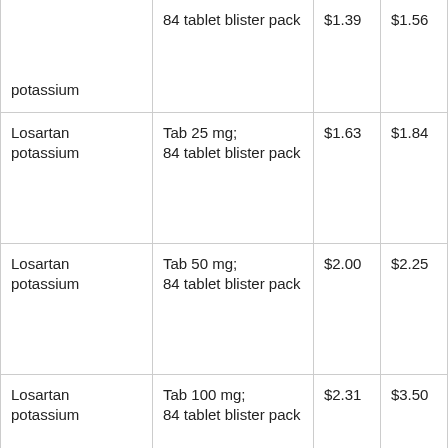| [Losartan potassium] | 84 tablet blister pack | $1.39 | $1.56 |
| Losartan potassium | Tab 25 mg;
84 tablet blister pack | $1.63 | $1.84 |
| Losartan potassium | Tab 50 mg;
84 tablet blister pack | $2.00 | $2.25 |
| Losartan potassium | Tab 100 mg;
84 tablet blister pack | $2.31 | $3.50 |
| Naltrexone | Tab 50 mg;
30 tablet blister | $112.55 | $133.33 |